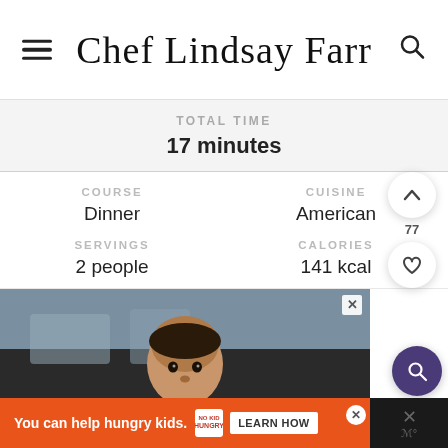Chef Lindsay Farr
TOTAL TIME
17 minutes
COURSE
Dinner
CUISINE
American
SERVINGS
2 people
CALORIES
141 kcal
[Figure (photo): Photo of a young child at what appears to be a school cafeteria setting, used in an ad for No Kid Hungry]
You can help hungry kids. NO KID HUNGRY LEARN HOW